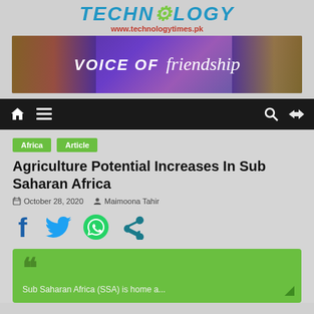TECHNOLOGY www.technologytimes.pk
[Figure (illustration): Banner image with 'VOICE OF friendship' text on a purple/blue background with historical monuments on left and right sides]
[Figure (screenshot): Navigation bar with home icon, hamburger menu, search icon, and shuffle icon on dark background]
Africa
Article
Agriculture Potential Increases In Sub Saharan Africa
October 28, 2020   Maimoona Tahir
[Figure (infographic): Social media share icons: Facebook (f), Twitter bird, WhatsApp, and share icon in blue/teal/green colors]
Sub Saharan Africa (SSA) is home a...